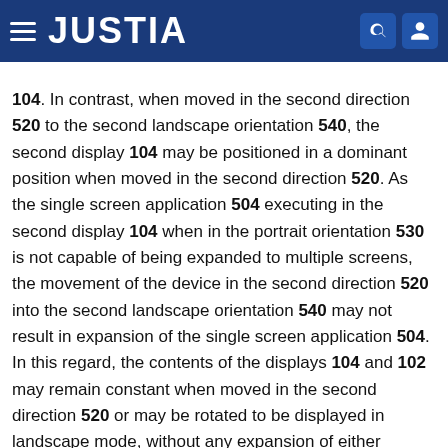JUSTIA
104. In contrast, when moved in the second direction 520 to the second landscape orientation 540, the second display 104 may be positioned in a dominant position when moved in the second direction 520. As the single screen application 504 executing in the second display 104 when in the portrait orientation 530 is not capable of being expanded to multiple screens, the movement of the device in the second direction 520 into the second landscape orientation 540 may not result in expansion of the single screen application 504. In this regard, the contents of the displays 104 and 102 may remain constant when moved in the second direction 520 or may be rotated to be displayed in landscape mode, without any expansion of either application.
While the invention has been illustrated and described in detail in the drawings and foregoing description, such